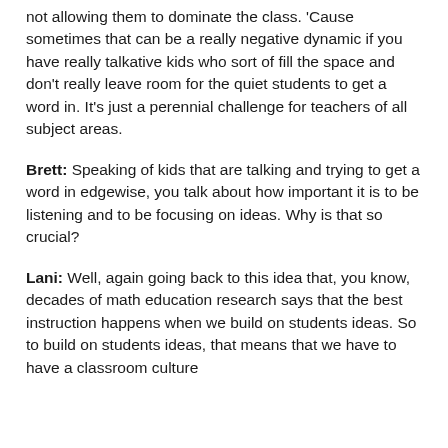not allowing them to dominate the class. 'Cause sometimes that can be a really negative dynamic if you have really talkative kids who sort of fill the space and don't really leave room for the quiet students to get a word in. It's just a perennial challenge for teachers of all subject areas.
Brett: Speaking of kids that are talking and trying to get a word in edgewise, you talk about how important it is to be listening and to be focusing on ideas. Why is that so crucial?
Lani: Well, again going back to this idea that, you know, decades of math education research says that the best instruction happens when we build on students ideas. So to build on students ideas, that means that we have to have a classroom culture